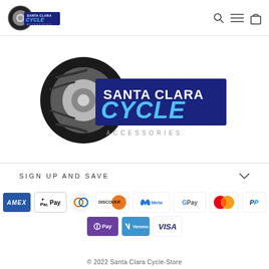[Figure (logo): Santa Clara Cycle Accessories logo in header navigation bar — small version with tire graphic and text]
[Figure (logo): Santa Clara Cycle Accessories large logo — motorcycle tire with SANTA CLARA CYCLE ACCESSORIES text]
SIGN UP AND SAVE
[Figure (infographic): Payment method icons: American Express, Apple Pay, Diners Club, Discover, Meta, Google Pay, Mastercard, PayPal, OPay, Venmo, Visa]
© 2022 Santa Clara Cycle-Store